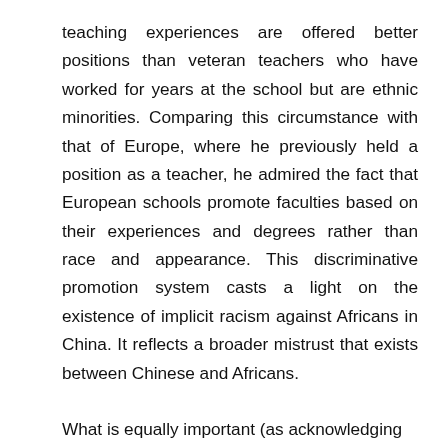teaching experiences are offered better positions than veteran teachers who have worked for years at the school but are ethnic minorities. Comparing this circumstance with that of Europe, where he previously held a position as a teacher, he admired the fact that European schools promote faculties based on their experiences and degrees rather than race and appearance. This discriminative promotion system casts a light on the existence of implicit racism against Africans in China. It reflects a broader mistrust that exists between Chinese and Africans.
What is equally important (as acknowledging